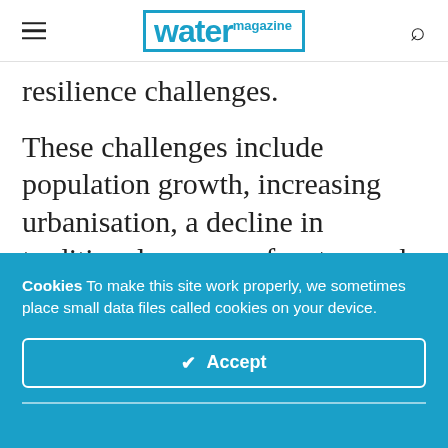water magazine
resilience challenges.
These challenges include population growth, increasing urbanisation, a decline in traditional sources of water, and water scarcity driven by climate change. Globally the United Nations estimate that some 3.6 billion people
Cookies To make this site work properly, we sometimes place small data files called cookies on your device.
✔ Accept